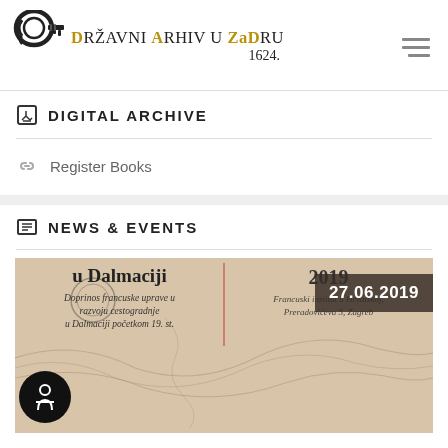[Figure (logo): Državni Arhiv u Zadru logo with ornate key illustration and text, founded 1624]
DIGITAL ARCHIVE
Register Books
NEWS & EVENTS
[Figure (photo): News event poster for an exhibition about Dalmatia, dated 27.06.2019, with an old map of Dalmatia. Text: u Dalmaciji, Doprinos francuske uprave u razvoju cestogradnje u Dalmaciji početkom 19. st., 2019, Francuski institut u Hrvatskoj, Preradovićeva 5, Zagreb]